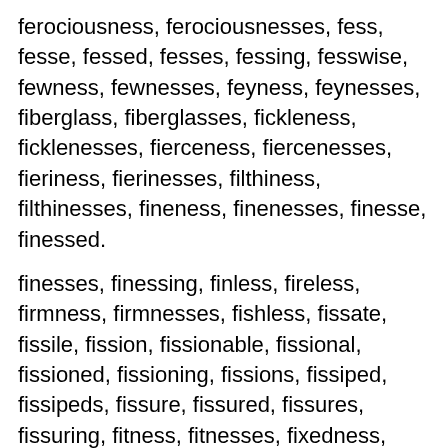ferociousness, ferociousnesses, fess, fesse, fessed, fesses, fessing, fesswise, fewness, fewnesses, feyness, feynesses, fiberglass, fiberglasses, fickleness, ficklenesses, fierceness, fiercenesses, fieriness, fierinesses, filthiness, filthinesses, fineness, finenesses, finesse, finessed.
finesses, finessing, finless, fireless, firmness, firmnesses, fishless, fissate, fissile, fission, fissionable, fissional, fissioned, fissioning, fissions, fissiped, fissipeds, fissure, fissured, fissures, fissuring, fitness, fitnesses, fixedness, fixednesses, flabbiness, flabbinesses, flagless, flapless, flashiness, flashinesses, flatness, flatnesses, flawless, fleetness.
fleetnesses, flightless, flimsiness, flimsinesses, floss, flosses, flossie, flossier, flossies, flossiest, flossy, flossiness, flossinesses, flossless, fossless.